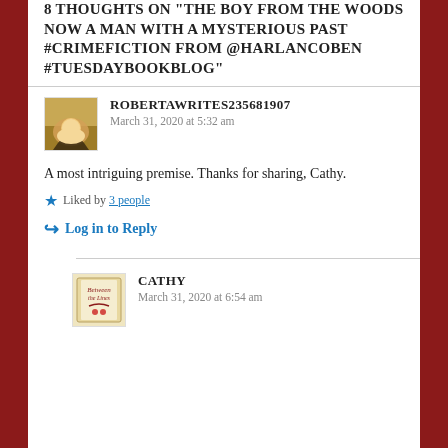8 THOUGHTS ON "THE BOY FROM THE WOODS NOW A MAN WITH A MYSTERIOUS PAST #CRIMEFICTION FROM @HARLANCOBEN #TUESDAYBOOKBLOG"
ROBERTAWRITES235681907
March 31, 2020 at 5:32 am
A most intriguing premise. Thanks for sharing, Cathy.
★ Liked by 3 people
↪ Log in to Reply
CATHY
March 31, 2020 at 6:54 am